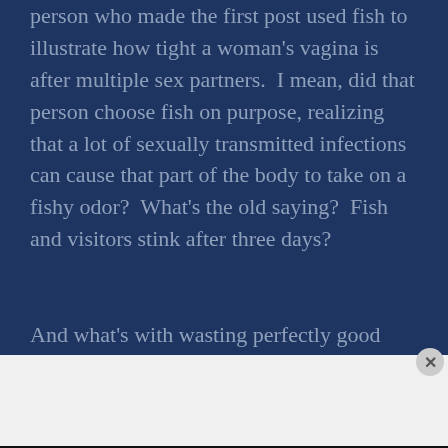person who made the first post used fish to illustrate how tight a woman's vagina is after multiple sex partners.  I mean, did that person choose fish on purpose, realizing that a lot of sexually transmitted infections can cause that part of the body to take on a fishy odor?  What's the old saying?  Fish and visitors stink after three days?

And what's with wasting perfectly good fish on an object lesson?  That fish died so the world can get a
Advertisements
[Figure (screenshot): Seamless food delivery advertisement banner showing pizza slices on the left, a red Seamless logo badge in the center, and an 'ORDER NOW' button with white border on the right, all on a dark background.]